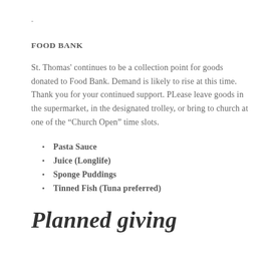-
FOOD BANK
St. Thomas' continues to be a collection point for goods donated to Food Bank. Demand is likely to rise at this time. Thank you for your continued support. PLease leave goods in the supermarket, in the designated trolley, or bring to church at one of the “Church Open” time slots.
Pasta Sauce
Juice (Longlife)
Sponge Puddings
Tinned Fish (Tuna preferred)
Planned giving